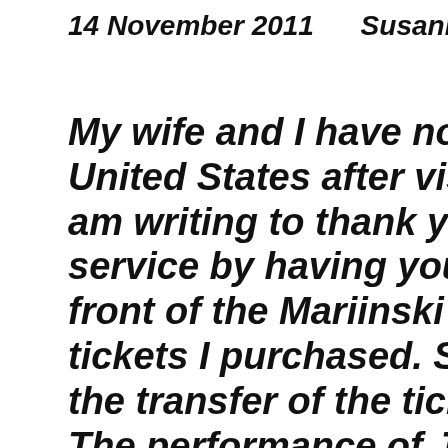14 November 2011     Susann
My wife and I have now returned [to the] United States after visiting St. P[etersburg.] I am writing to thank you for you[r excellent] service by having your person m[eet us in] front of the Mariinski Theater w[ith the] tickets I purchased. She was on[time and] the transfer of the tickets worke[d smoothly.] The performance of Jewels was